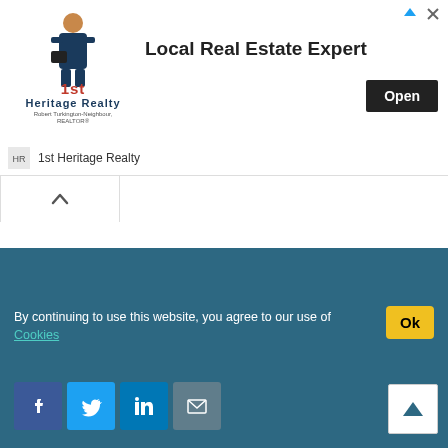[Figure (advertisement): 1st Heritage Realty advertisement banner with logo, 'Local Real Estate Expert' headline, and Open button]
1st Heritage Realty
[Figure (other): Collapse/chevron up button]
By continuing to use this website, you agree to our use of Cookies
[Figure (other): Social sharing buttons: Facebook, Twitter, LinkedIn, Email]
[Figure (other): Scroll to top arrow button]
YOU MIGHT ALSO LIKE